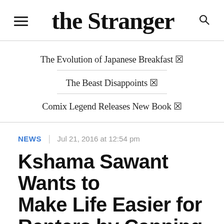the Stranger
The Evolution of Japanese Breakfast 🔗
The Beast Disappoints 🔗
Comix Legend Releases New Book 🔗
NEWS | Jul 21, 2016 at 12:54 pm
Kshama Sawant Wants to Make Life Easier for Renters by Capping